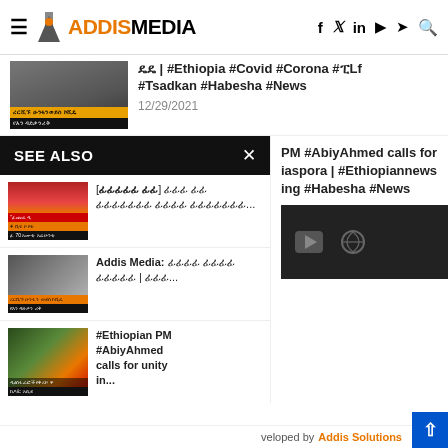ADDIS MEDIA — navigation header with social icons
[Figure (screenshot): Thumbnail image with Ethiopian text: ረርሺኙ ዑንፋን ወይስ ኮሺዴ / የእን ዳድቃን ሪቅ]
#Ethiopia #Covid #Corona #TPLf #Tsadkan #Habesha #News
12/29/2021
SEE ALSO
PM #AbiyAhmed calls for diaspora | #Ethiopiannews ing #Habesha #News
[Figure (screenshot): See Also item 1 thumbnail with Ethiopian text]
[ፊጩሬ ዲ] ዲዲዲ ዲዲ ዲዲዲዲዲዲ ዲዲዲዲ ዲዲዲዲዲዲዲ...
[Figure (screenshot): See Also item 2 thumbnail with Ethiopian text: ረርሺኙ ዑንፋን ወይስ ኮሺዴ / የእን ዳድቃን ሪቅ]
Addis Media: ዲዲዲዲ ዲዲዲዲ ዲዲዲዲዲ | ዲዲዲ...
[Figure (screenshot): See Also item 3 thumbnail with Ethiopian/flag imagery: ዲፅስፋራፎች የቅረቦ ዋ ‌ ‌ ‌ ‌ ‌ ‌ ‌ ‌ ‌ ‌ ‌ ‌ ‌ ‌ ‌ ‌ ‌ ‌ ‌ ‌ ‌ ‌ ‌ ‌ ‌ ‌ ‌ ‌ ‌ ‌ ‌ ‌ ‌ ‌ ‌ ‌ ‌ ‌ ‌ ‌ ‌ ‌ ‌ ‌ ‌ ‌ ‌ ‌ ‌ ‌ ‌ ‌ ‌ ‌ ‌ ‌ ‌ ‌ ‌ ‌ ‌ ‌ ‌ ‌ ‌ ‌ ‌ ‌ ‌ ‌ ‌ ‌ ‌ ‌ ‌ ‌ ‌ ‌ ‌ ‌ ‌ ‌ ‌ ‌ ‌ ‌ ‌ ‌ ‌ ‌ ‌ ‌ ‌ ‌ ‌ ‌ ‌ ‌ ‌ ‌ ‌ ‌ ‌ ‌ ‌ ‌ ‌ ‌ ‌ ‌ ‌ ‌ ‌ ‌ ‌ ‌ ‌ ‌ ‌ ‌ ‌ ‌ ‌ ‌ ‌ ‌ ‌ ‌ ‌ ‌ ‌ ‌ ‌ ‌ ‌ ‌ ‌ ‌ ‌ ‌ ‌ ‌ ‌ ‌ ‌ ‌ ‌ ‌ ‌ ‌ ‌ ‌ ‌ ‌ ‌ ‌ ‌ ‌ ‌ ‌ ‌ ‌ ‌ ‌ ‌ ‌ ‌ ‌ ‌ ‌ ‌ ‌ ‌ ‌ ‌ ‌ ‌ ‌ ‌ ‌ ‌ ‌ ‌ ‌ ‌ ‌ ‌ ‌ ‌ ‌ ‌ ‌ ‌ ‌ ‌ ‌ ‌ ‌ ‌ ‌ ‌ ‌ ‌ ‌ ‌ ‌ ‌ ‌ ‌ ‌ ‌ ‌ ‌ ‌ ‌ ‌ ‌ ‌ ‌ ‌ ‌ ‌ ‌ ‌ ‌ ‌ ‌ ‌ ‌ ‌ ‌ ‌ ‌ ‌ ‌ ‌ ‌ ‌ ‌ ‌ ‌ ‌ ‌ ‌ ‌ ‌ ‌ ‌ ‌ ‌ ‌ ‌ ‌ ‌ ‌ ‌ ‌ ‌ ‌ ‌ ‌ ‌ ‌ ‌ ‌ ‌ ‌ ‌ ‌ ‌ ‌ ‌ ‌ ‌ ‌ ‌ ‌ ‌ ‌ ‌ ‌ ‌ ‌ ‌ ‌ ‌ ‌ ‌ ‌ ‌ ‌ ‌ ‌ ‌ ‌ ‌ ‌ ‌ ‌ ‌ ‌ ‌ ‌ ‌ ‌ ‌ ‌ ‌ ‌ ‌ ‌ ‌ ‌ ‌ ‌ ‌ ‌ ‌ ‌ ‌ ‌ ‌ ‌ ‌ ‌ ‌ ‌ ‌ ‌ ‌ ‌ ‌ ‌ ‌ ‌ ‌ ‌ ‌ ‌ ‌ ‌ ‌ ‌ ‌ ‌ ‌ ‌ ‌ ‌ ‌ ‌ ‌ ‌ ‌ ‌ ‌ ‌ ‌ ‌ ‌ ‌ ‌ ‌ ‌ ‌ ‌ ‌ ‌ ‌ ‌ ‌ ‌ ‌ ‌ ‌ ‌ ‌ ‌ ‌ ‌ ‌ ‌ ‌ ‌ ‌ ‌ ‌ ‌ ‌ ‌ ‌ ‌ ‌ ‌ ‌ ‌ ‌ ‌ ‌ ‌ ‌ ‌ ‌ ‌ ‌ ‌ ‌ ‌ ‌ ‌ ‌ ‌ ‌ ‌ ‌ ‌ ‌ ‌ ‌ ‌ ‌ ‌ ‌ ‌ ‌ ‌ ‌ ‌ ‌ ‌ ‌ ‌ ‌ ‌ ‌ ‌ ‌ ‌ ‌ ‌ ‌ ‌ ‌ ‌ ‌ ‌ ‌ ‌ ‌ ‌ ‌ ‌ ‌ ‌ ‌ ‌ ‌ ‌ ‌ ‌ ‌ ‌ ‌ ‌ ‌ ‌ ‌ ‌ ‌ ‌ ‌ ‌ ‌ ‌ ‌ ‌ ‌ ‌ ‌ ‌ ‌ ‌ ‌ ‌ ‌ ‌ ‌ ‌ ‌ ‌ ‌ ‌ ‌ ‌ ‌ ‌ ‌ ‌ ‌ ‌ ‌ ‌ ‌ ‌ ‌ ‌ ‌ ‌ ‌ ‌ ‌ ‌ ‌ ‌ ‌ ‌ ‌ ‌ ‌ ‌ ‌ ‌ ‌ ‌ ‌ ‌ ‌ ‌ ‌ ‌ ‌ ‌ ‌ ‌ ‌ ‌ ‌ ‌ ‌ ‌ ‌ ‌ ‌ ‌ ‌ ‌ ‌ ‌ ‌ ‌ ‌ ‌ ‌ ‌ ‌ ‌ ‌ ‌ ‌ ‌ ‌ ‌ ‌ ‌ ‌ ‌ ‌ ‌ ‌ ‌ ‌ ‌ ‌ ‌ ‌ ‌ ‌ ‌ ‌ ‌ ‌ ‌ ‌ ‌ ‌ ‌ ‌ ‌ ‌ ‌ ‌ ‌ ‌ ‌ ‌ ‌ ‌ ‌ ‌ ‌ ‌ ‌ ‌ ‌ ‌ ‌ ‌ ‌ ‌ ‌ ‌ ‌ ‌ ‌ ‌ ‌ ‌ ‌ ‌ ‌ ‌ ‌ ‌ ‌ ‌ ‌ ‌ ‌ ‌ ‌ ‌ ‌ ‌ ‌ ‌ ‌ ‌ ‌ ‌ ‌ ‌ ‌ ‌ ‌ ‌ ‌ ‌ ‌ ‌ ‌ ‌ ‌ ‌ ‌ ‌ ‌ ‌ ‌ ‌ ‌ ‌ ‌ ‌ ‌ ‌ ‌ ‌ ‌ ‌ ‌ ‌ ‌ ‌ ‌ ‌ ‌ ‌ ‌ ‌ ‌ ‌ ‌ ‌ ‌ ‌ ‌ ‌ ‌ ‌ ‌ ‌ ‌ ‌ ‌ ‌ ‌ ‌ ‌ ‌ ‌ ‌ ‌ ‌ ‌ ‌ ‌ ‌ ‌ ‌ ‌ ‌ ‌ ‌ ‌ ‌ ‌ ‌ ‌ ‌ ‌ ‌ ‌ ‌ ‌ ‌ ‌ ‌ ‌ ‌ ‌ ‌ ‌ ‌ ‌ ‌ ‌ ‌ ‌ ‌ ‌ ‌ ‌ ‌ ‌ ‌ ‌ ‌ ‌ ‌ ‌ ‌ ‌ ‌ ‌ ‌ ‌ ‌ ‌ ‌ ‌ ‌ ‌ ‌ ‌ ‌ ‌ ‌ ‌ ‌ ‌ ‌ ‌ ‌ ‌ ‌ ‌ ‌ ‌ ‌ ‌ ‌ ‌ ‌ ‌ ‌ ‌ ‌ ‌ ‌ ‌ ‌ ‌ ‌ ‌ ‌ ‌ ‌ ‌ ‌ ‌ ‌ ‌ ‌ ‌ ‌ ‌ ‌ ‌ ‌ ‌ ‌ ‌ ‌ ‌ ‌ ‌ ‌ ‌ ‌ ‌ ‌ ‌ ‌ ‌ ‌ ‌ ‌ ‌ ‌ ‌ ‌ ‌ ‌ ‌ ‌ ‌ ‌ ‌ ‌ ‌ ‌ ‌ ‌ ‌ ‌ ‌ ‌ ‌ ‌ ‌ ‌ ‌ ‌ ‌ ‌ ‌ ‌ ‌ ‌ ‌ ‌ ‌ ‌ ‌ ‌ ‌ ‌ ‌ ‌ ‌ ‌ ‌ ‌ ‌ ‌ ‌ ‌ ‌ ‌ ‌ ‌ ‌ ‌ ‌ ‌ ‌ ‌ ‌ ‌ ‌ ‌ ‌ ‌ ‌ ‌ ‌ ‌ ‌ ‌ ‌ ‌ ‌ ‌ ‌ ‌ ‌ ‌ ‌ ‌ ‌ ‌ ‌ ‌ ‌ ‌ ‌ ‌ ‌ ‌ ‌ ‌ ‌ ‌ ‌ ‌ ‌ ‌ ‌ ‌ ‌ ‌ ‌ ‌ ‌ ‌ ‌ ‌ ‌ ‌ ‌ ‌ ‌ ‌ ‌ ‌ ‌ ‌ ‌ ‌ ‌ ‌ ‌ ‌ ‌ ‌ ‌ ‌ ‌ ‌ ‌ ‌ ‌ ‌ ‌ ‌ ‌ ‌ ‌ ‌ ‌ ‌ ‌ ‌ ‌ ‌ ‌ ‌ ‌ ‌ ‌ ‌ ‌ ‌ ‌ ‌ ‌ ‌ ‌ ‌ ‌ ‌ ‌ ‌ ‌ ‌ ‌ ‌ ‌ ‌ ‌ ‌ ‌ ‌ ‌ ‌ ‌ ‌ ‌ ‌ ‌ ‌ ‌ ‌ ‌ ‌ ‌ ‌ ‌ ‌ ‌ ‌ ‌ ‌ ‌ ‌ ‌ ‌ ‌ ‌ ‌ ‌ ‌ ‌ ‌ ‌ ‌ ‌ ‌ ‌ ‌ ‌ ‌ ‌ ‌ ‌ ‌ ‌ ‌ ‌ ‌ ‌ ‌ ‌ ‌ ‌ ‌ ‌ ‌ ‌ ‌ ‌ ‌ ‌ ‌ ‌ ‌ ‌ ‌ ‌ ‌ ‌ ‌ ‌ ‌ ‌ ‌ ‌ ‌ ‌ ‌ ‌ ‌ ‌ ‌ ‌ ‌ ‌ ‌ ‌ ‌ ‌ ‌ ‌ ‌ ‌ ‌ ‌ ‌ ‌ ‌ ‌ ‌ ‌ ‌ ‌ ‌ ‌ ‌ ‌ ‌ ‌ ‌ ‌ ‌ ‌ ‌ ‌ ‌ ‌ ‌ ‌ ‌ ‌ ‌ ‌ ‌ ‌ ‌ ‌ ‌ ‌ ‌ ‌ ‌ ‌ ‌ ‌ ‌ ‌ ‌ ‌ ‌ ‌ ‌ ‌ ‌ ‌ ‌ ‌ ‌ ‌ ‌ ‌ ‌ ‌ ‌ ‌ ‌ ‌ ‌ ‌ ‌ ‌ ‌ ‌ ‌ ‌ ‌ ‌ ‌ ‌ ‌ ‌ ‌ ‌ ‌ ‌ ‌ ‌ ‌ ‌ ‌ ‌ ‌ ‌ ‌ ‌ ‌ ‌ ‌ ‌ ‌ ‌ ‌ ‌ ‌ ‌ ‌ ‌ ‌ ‌ ‌ ‌ ‌ ‌ ‌ ‌ ‌ ‌ ‌ ‌ ‌ ‌ ‌ ‌ ‌ ‌ ‌ ‌ ‌ ‌ ‌ ‌ ‌ ‌ ‌ ‌ ‌ ‌ ‌ ‌ ‌ ‌ ‌ ‌ ‌ ‌ ‌ ‌ ‌ ‌ ‌ ‌ ‌ ‌ ‌ ‌ ‌ ‌ ‌ ‌ ‌ ‌ ‌ ‌ ‌ ‌ ‌ ‌ ‌ ‌ ‌ ‌ ‌ ‌ ‌ ‌ ‌ ‌ ‌ ‌]
#Ethiopian PM #AbiyAhmed calls for unity in...
[Figure (screenshot): Dark video embed block with YouTube and Telegram icons]
veloped by Addis Solutions